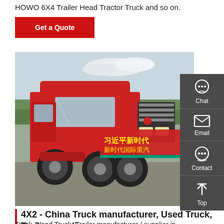HOWO 6X4 Trailer Head Tractor Truck and so on.
[Figure (other): Button: Get a Quote (red background, white text)]
[Figure (photo): A red HOWO 6X4 tractor truck parked on a lot with a red banner with Chinese characters in the background. A dark grey sidebar with Chat, Email, Contact, and Top icons overlaps the right side of the image.]
4X2 - China Truck manufacturer, Used Truck, Trailer supplier
Truck, Used Truck, Trailer manufacturer / supplier in